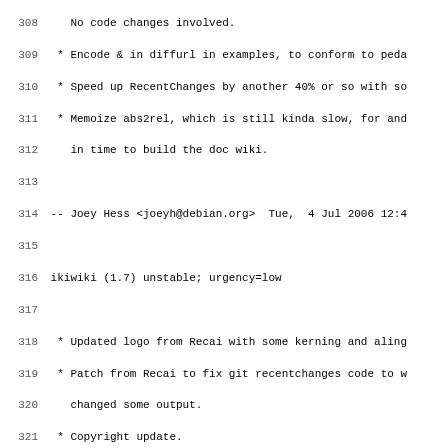Lines 308-339 of a Debian changelog file for ikiwiki package
308    No code changes involved.
309  * Encode & in diffurl in examples, to conform to peda
310  * Speed up RecentChanges by another 40% or so with so
311  * Memoize abs2rel, which is still kinda slow, for and
312      in time to build the doc wiki.
314  -- Joey Hess <joeyh@debian.org>  Tue,  4 Jul 2006 12:4
316 ikiwiki (1.7) unstable; urgency=low
318  * Updated logo from Recai with some kerning and aling
319  * Patch from Recai to fix git recentchanges code to w
320      changed some output.
321  * Copyright update.
323  -- Joey Hess <joeyh@debian.org>  Sun, 18 Jun 2006 23:3
325 ikiwiki (1.6) unstable; urgency=low
327  * YA utf-8 patch from Recai, this time to fix preview
328      the text in the input box is re-encoded back to utf
329  * -CSD does not affect modules, so readfile() was not
330      layer, which led to lots of problems; make it force
331      Closes: #373203
332  * Note that as a consequence, this version of ikiwiki
333      parse utf8 in source files for the first time, whio
334      utf8 in wiki sources that was hidden before. Most o
335      perl warnings like "utf8 "\xE9" does not map to Uni
336  * writefile() likewise needs to use the utf8 output l
337  * Remove the -CSD from ikiwiki's hashbang since it's
338      there.
339  * Revert some of the decode utf8 changes in CGI.pm th